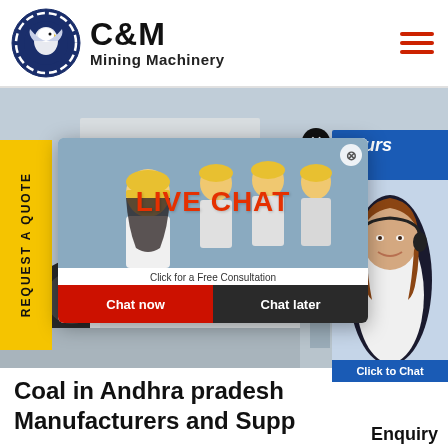[Figure (logo): C&M Mining Machinery logo with eagle gear emblem]
[Figure (photo): Industrial mining machinery background photo with workers in yellow hard hats]
[Figure (screenshot): Live chat popup overlay with workers photo, LIVE CHAT heading, Chat now and Chat later buttons]
[Figure (photo): Right panel showing customer support agent with headset, Hours Online badge, Click to Chat button]
REQUEST A QUOTE
Coal in Andhra pradesh Manufacturers and Supp...
Enquiry